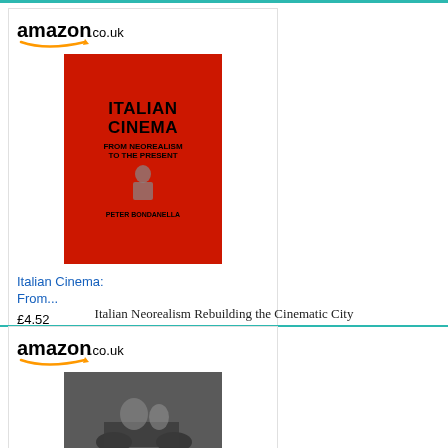[Figure (other): Amazon.co.uk advertisement for 'Italian Cinema: From Neorealism to the Present' by Peter Bondanella. Shows book cover with red background and bold black title text, priced at £4.52 with a Shop now button.]
Italian Neorealism Rebuilding the Cinematic City
[Figure (other): Amazon.co.uk advertisement for a 'Short Cuts' book with black and white photo cover showing motorcycle scene.]